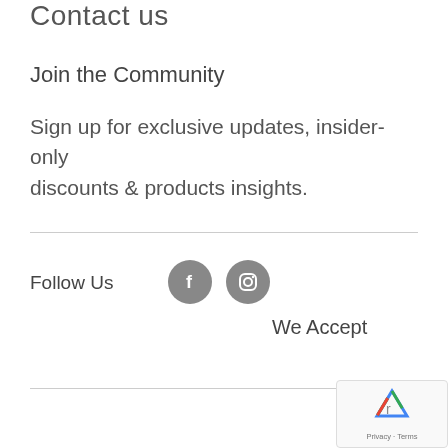Contact us
Join the Community
Sign up for exclusive updates, insider-only discounts & products insights.
Follow Us
[Figure (illustration): Facebook and Instagram circular social media icons in grey]
We Accept
[Figure (illustration): Google reCAPTCHA badge with Privacy - Terms text]